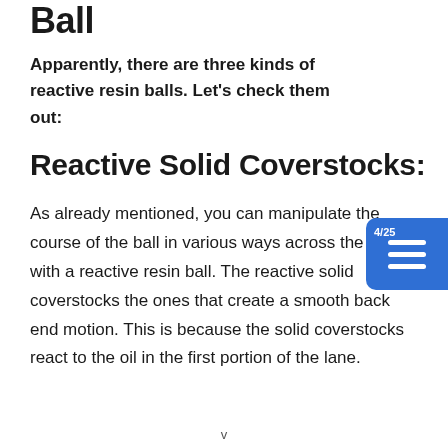Ball
Apparently, there are three kinds of reactive resin balls. Let's check them out:
Reactive Solid Coverstocks:
As already mentioned, you can manipulate the course of the ball in various ways across the lane with a reactive resin ball. The reactive solid coverstocks the ones that create a smooth back end motion. This is because the solid coverstocks react to the oil in the first portion of the lane.
v